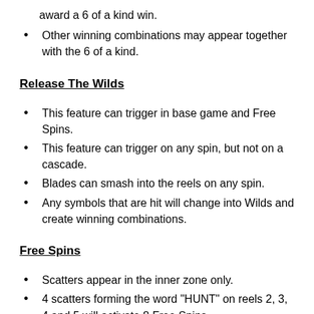award a 6 of a kind win.
Other winning combinations may appear together with the 6 of a kind.
Release The Wilds
This feature can trigger in base game and Free Spins.
This feature can trigger on any spin, but not on a cascade.
Blades can smash into the reels on any spin.
Any symbols that are hit will change into Wilds and create winning combinations.
Free Spins
Scatters appear in the inner zone only.
4 scatters forming the word "HUNT" on reels 2, 3, 4 and 5 will activate 8 Free Spins.
Every extra Scatter in the base game will award 2